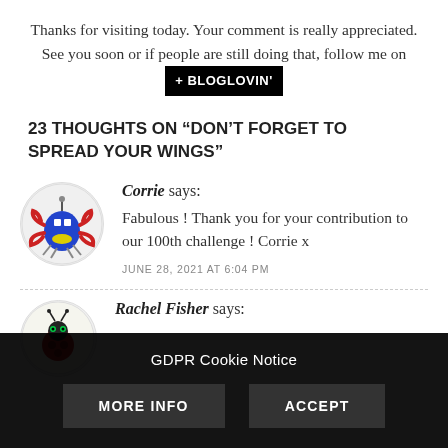Thanks for visiting today. Your comment is really appreciated. See you soon or if people are still doing that, follow me on + BLOGLOVIN'
23 THOUGHTS ON “DON’T FORGET TO SPREAD YOUR WINGS”
Corrie says: Fabulous ! Thank you for your contribution to our 100th challenge ! Corrie x
JUNE 28, 2021 AT 6:04 PM
Rachel Fisher says:
GDPR Cookie Notice
MORE INFO
ACCEPT